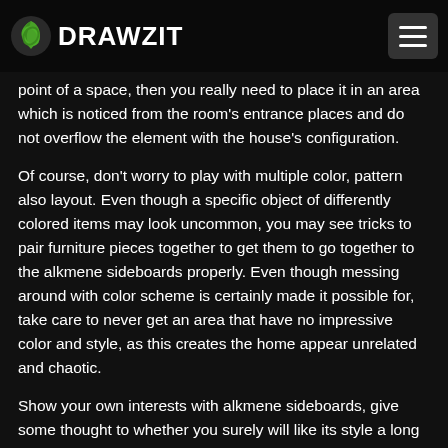DRAWZIT
point of a space, then you really need to place it in an area which is noticed from the room's entrance places and do not overflow the element with the house's configuration.
Of course, don't worry to play with multiple color, pattern also layout. Even though a specific object of differently colored items may look uncommon, you may see tricks to pair furniture pieces together to get them to go together to the alkmene sideboards properly. Even though messing around with color scheme is certainly made it possible for, take care to never get an area that have no impressive color and style, as this creates the home appear unrelated and chaotic.
Show your own interests with alkmene sideboards, give some thought to whether you surely will like its style a long time from now. In case you are on a tight budget, consider getting started with the things you by now have, have a look at all your sideboards and dressers, and check out if it becomes possible to re-purpose them to fit the new design. Furnishing with sideboards and